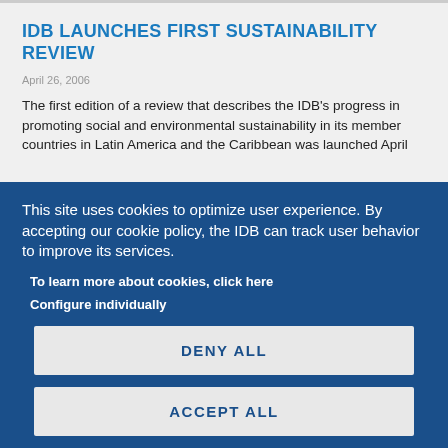IDB LAUNCHES FIRST SUSTAINABILITY REVIEW
April 26, 2006
The first edition of a review that describes the IDB's progress in promoting social and environmental sustainability in its member countries in Latin America and the Caribbean was launched April
This site uses cookies to optimize user experience. By accepting our cookie policy, the IDB can track user behavior to improve its services.
To learn more about cookies, click here
Configure individually
DENY ALL
ACCEPT ALL